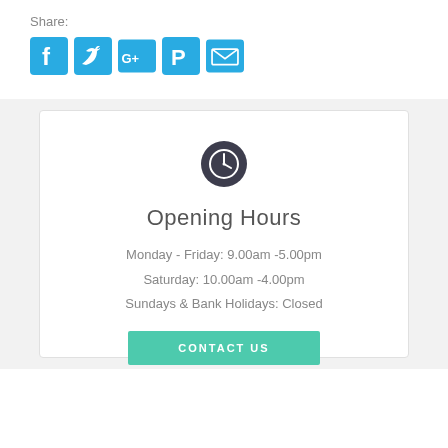Share:
[Figure (infographic): Social media share icons: Facebook, Twitter, Google+, Pinterest, Email — all in teal/cyan color]
[Figure (infographic): Dark circular clock icon]
Opening Hours
Monday - Friday: 9.00am -5.00pm
Saturday: 10.00am -4.00pm
Sundays & Bank Holidays: Closed
CONTACT US